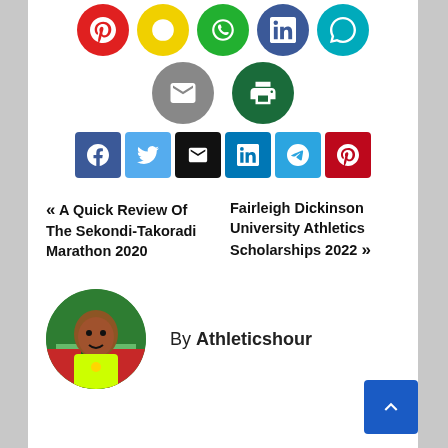[Figure (infographic): Social sharing icon buttons - top row: red (Pinterest), yellow (unknown), green (unknown), dark navy (unknown), teal (Skype)]
[Figure (infographic): Social sharing icon buttons - middle row: gray (email/envelope), dark green (print)]
[Figure (infographic): Social sharing icon buttons - square row: blue (Facebook), light blue (Twitter), black (email), navy (LinkedIn), sky blue (Telegram), red (Pinterest)]
« A Quick Review Of The Sekondi-Takoradi Marathon 2020   Fairleigh Dickinson University Athletics Scholarships 2022 »
By Athleticshour